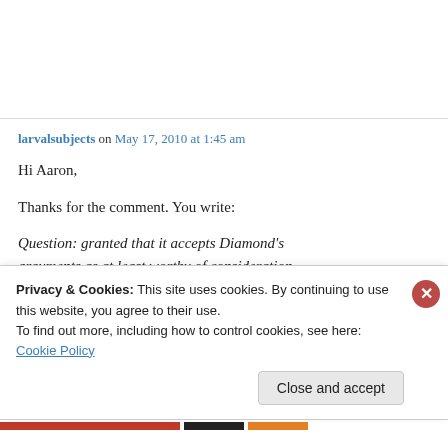larvalsubjects on May 17, 2010 at 1:45 am
Hi Aaron,
Thanks for the comment. You write:
Question: granted that it accepts Diamond's arguments as at least worthy of consideration
Privacy & Cookies: This site uses cookies. By continuing to use this website, you agree to their use. To find out more, including how to control cookies, see here: Cookie Policy